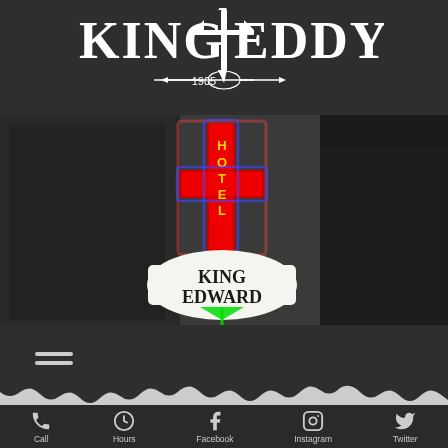[Figure (logo): King Eddy logo with dagger and 1905 text, white on dark background]
[Figure (photo): Black and white photo of King Edward Hotel neon sign with colored cross and neon lettering]
[Figure (infographic): Hamburger menu icon (three horizontal lines)]
[Figure (infographic): Footer navigation bar with icons: Call, Hours, Facebook, Instagram, Twitter]